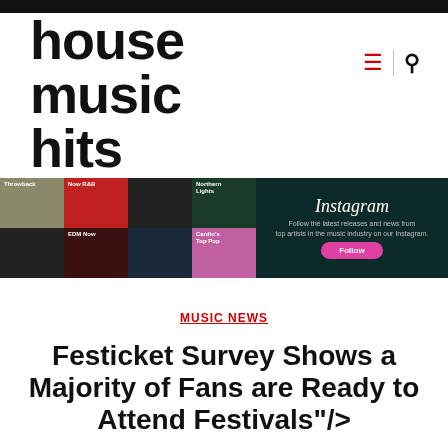house music hits
[Figure (screenshot): Instagram promotional banner with music playlist grid on the left (Throwback, Now R&B, Northern Lights, EDM Now, Cardio's Top Pop labels) and Instagram follow CTA on the right on dark teal background]
MUSIC NEWS
Festicket Survey Shows a Majority of Fans are Ready to Attend Festivals"/>